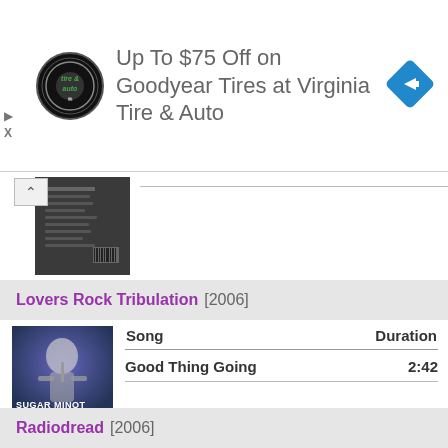[Figure (infographic): Advertisement banner: Virginia Tire & Auto logo (circular black logo with tire&auto text) on left, blue diamond navigation icon on right, text 'Up To $75 Off on Goodyear Tires at Virginia Tire & Auto']
Up To $75 Off on Goodyear Tires at Virginia Tire & Auto
[Figure (photo): Partial album cover image (back cover) showing dark image with text, partially visible]
Lovers Rock Tribulation [2006]
[Figure (photo): Album cover for Sugar Minott showing a performer on stage, dark blue tones, text SUGAR MINOTT on cover]
| Song | Duration |
| --- | --- |
| Good Thing Going | 2:42 |
Radiodread [2006]